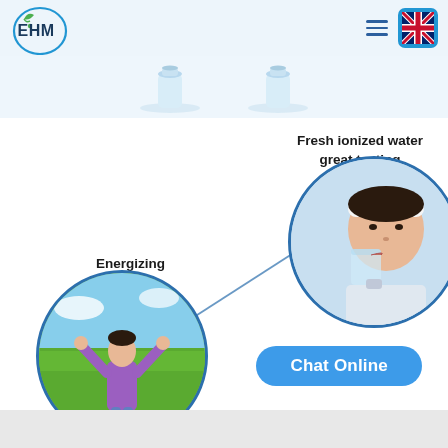EHM logo navigation header with hamburger menu and UK flag language selector
[Figure (screenshot): EHM brand website screenshot showing header with logo, navigation, and product/lifestyle circular images with labels 'Fresh ionized water great tasting' and 'Energizing', plus a Chat Online button]
Fresh ionized water great tasting
Energizing
Chat Online